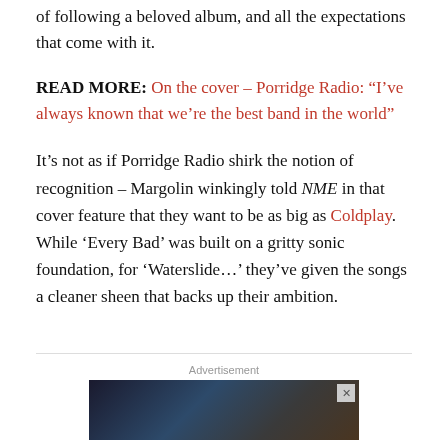of following a beloved album, and all the expectations that come with it.
READ MORE: On the cover – Porridge Radio: “I’ve always known that we’re the best band in the world”
It’s not as if Porridge Radio shirk the notion of recognition – Margolin winkingly told NME in that cover feature that they want to be as big as Coldplay. While ‘Every Bad’ was built on a gritty sonic foundation, for ‘Waterslide…’ they’ve given the songs a cleaner sheen that backs up their ambition.
Advertisement